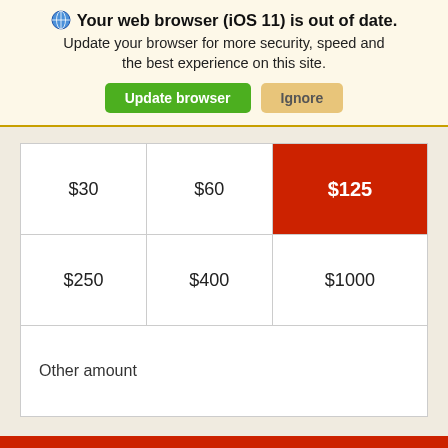Your web browser (iOS 11) is out of date.
Update your browser for more security, speed and the best experience on this site.
| $30 | $60 | $125 |
| $250 | $400 | $1000 |
| Other amount |  |  |